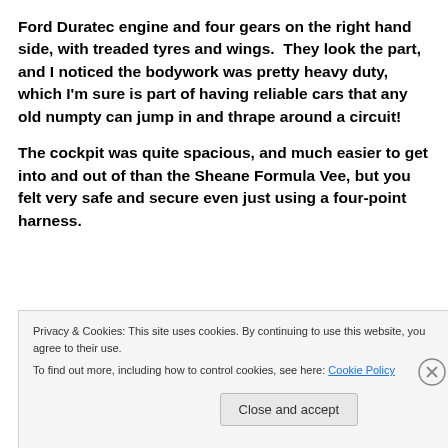Ford Duratec engine and four gears on the right hand side, with treaded tyres and wings.  They look the part, and I noticed the bodywork was pretty heavy duty, which I'm sure is part of having reliable cars that any old numpty can jump in and thrape around a circuit!
The cockpit was quite spacious, and much easier to get into and out of than the Sheane Formula Vee, but you felt very safe and secure even just using a four-point harness.
Privacy & Cookies: This site uses cookies. By continuing to use this website, you agree to their use.
To find out more, including how to control cookies, see here: Cookie Policy